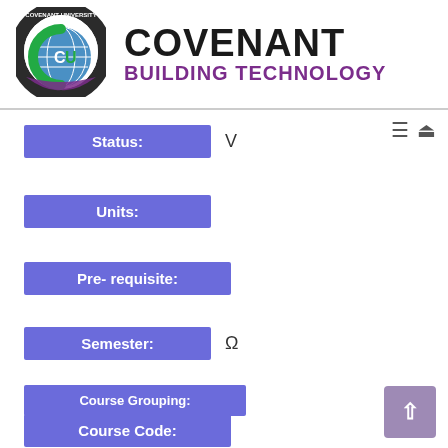[Figure (logo): Covenant University circular logo with globe and CU letters]
COVENANT BUILDING TECHNOLOGY
Status: V
Units:
Pre- requisite:
Semester: Ω
Course Grouping:
Course Code: